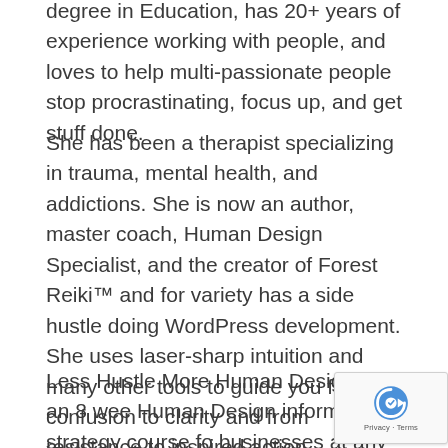degree in Education, has 20+ years of experience working with people, and loves to help multi-passionate people stop procrastinating, focus up, and get stuff done.
She has been a therapist specializing in trauma, mental health, and addictions. She is now an author, master coach, Human Design Specialist, and the creator of Forest Reiki™ and for variety has a side hustle doing WordPress development. She uses laser-sharp intuition and many other tools to guide you from confusion to clarity and from resistance to inspired action.
Less Hustle More Human Design is an 8 wee… Human Design informed strategy course for… businesses at any stage from vague idea to…